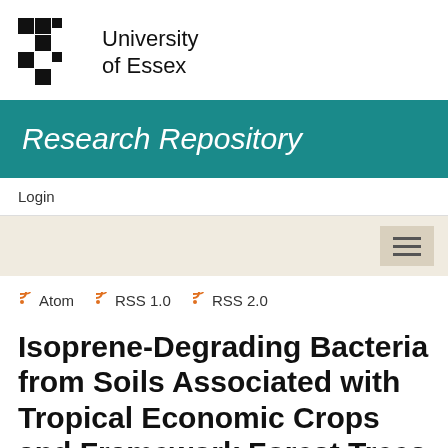[Figure (logo): University of Essex logo: black and white checkered/pixelated square pattern on the left, with 'University of Essex' text on the right]
Research Repository
Login
[Figure (other): Navigation bar with hamburger menu button (three horizontal lines) on a beige background]
Atom   RSS 1.0   RSS 2.0
Isoprene-Degrading Bacteria from Soils Associated with Tropical Economic Crops and Framework Forest Trees